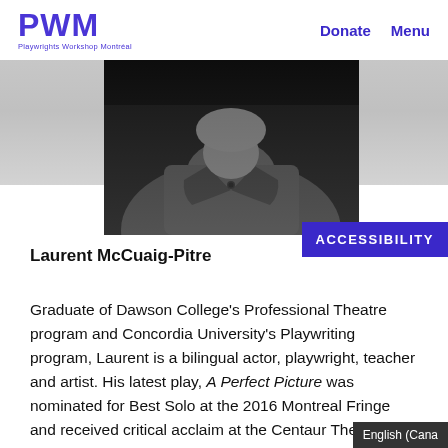PWM Playwrights Workshop Montréal | Donate | Menu
[Figure (photo): Black and white portrait photo of Laurent McCuaig-Pitre, showing his torso and collar area in a button-up shirt, face cropped at top]
Laurent McCuaig-Pitre
Graduate of Dawson College's Professional Theatre program and Concordia University's Playwriting program, Laurent is a bilingual actor, playwright, teacher and artist. His latest play, A Perfect Picture was nominated for Best Solo at the 2016 Montreal Fringe and received critical acclaim at the Centaur Thea...